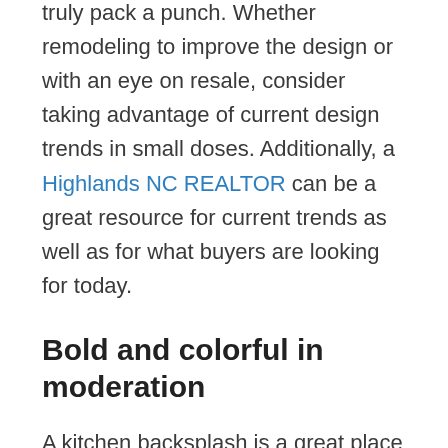powder room floor, small accents can truly pack a punch. Whether remodeling to improve the design or with an eye on resale, consider taking advantage of current design trends in small doses. Additionally, a Highlands NC REALTOR can be a great resource for current trends as well as for what buyers are looking for today.
Bold and colorful in moderation
A kitchen backsplash is a great place for a little design flair in a Highlands NC home. While a backsplash with the same color or material as the counters can offer a sleek and simple design, doing something different can also add a little personality. A bold and colorful backsplash is